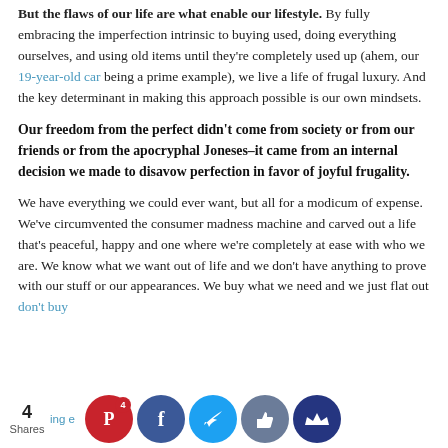But the flaws of our life are what enable our lifestyle. By fully embracing the imperfection intrinsic to buying used, doing everything ourselves, and using old items until they're completely used up (ahem, our 19-year-old car being a prime example), we live a life of frugal luxury. And the key determinant in making this approach possible is our own mindsets.
Our freedom from the perfect didn't come from society or from our friends or from the apocryphal Joneses–it came from an internal decision we made to disavow perfection in favor of joyful frugality.
We have everything we could ever want, but all for a modicum of expense. We've circumvented the consumer madness machine and carved out a life that's peaceful, happy and one where we're completely at ease with who we are. We know what we want out of life and we don't have anything to prove with our stuff or our appearances. We buy what we need and we just flat out don't buy